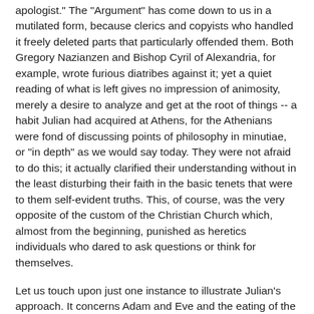apologist." The "Argument" has come down to us in a mutilated form, because clerics and copyists who handled it freely deleted parts that particularly offended them. Both Gregory Nazianzen and Bishop Cyril of Alexandria, for example, wrote furious diatribes against it; yet a quiet reading of what is left gives no impression of animosity, merely a desire to analyze and get at the root of things -- a habit Julian had acquired at Athens, for the Athenians were fond of discussing points of philosophy in minutiae, or "in depth" as we would say today. They were not afraid to do this; it actually clarified their understanding without in the least disturbing their faith in the basic tenets that were to them self-evident truths. This, of course, was the very opposite of the custom of the Christian Church which, almost from the beginning, punished as heretics individuals who dared to ask questions or think for themselves.
Let us touch upon just one instance to illustrate Julian's approach. It concerns Adam and Eve and the eating of the forbidden fruit from the Tree of Knowledge at the instigation of the Serpent. Julian asks: